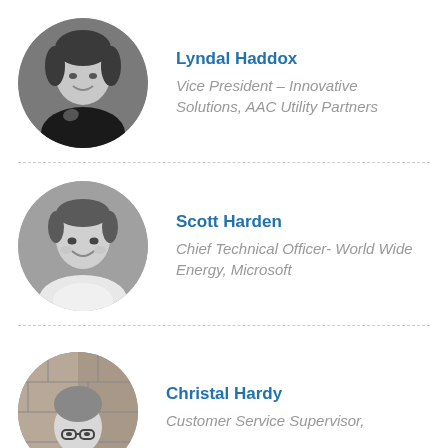[Figure (photo): Circular black and white headshot of Lyndal Haddox, a woman with short dark hair, smiling, wearing a dark jacket.]
Lyndal Haddox
Vice President – Innovative Solutions, AAC Utility Partners
[Figure (photo): Circular black and white headshot of Scott Harden, a young man with short hair, smiling, wearing a light shirt.]
Scott Harden
Chief Technical Officer- World Wide Energy, Microsoft
[Figure (photo): Circular black and white headshot of Christal Hardy, partially visible, a woman wearing glasses.]
Christal Hardy
Customer Service Supervisor,